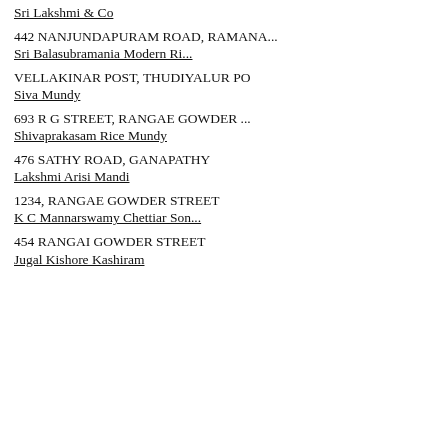Sri Lakshmi & Co
442 NANJUNDAPURAM ROAD, RAMANA...
Sri Balasubramania Modern Ri...
VELLAKINAR POST, THUDIYALUR PO
Siva Mundy
693 R G STREET, RANGAE GOWDER ...
Shivaprakasam Rice Mundy
476 SATHY ROAD, GANAPATHY
Lakshmi Arisi Mandi
1234, RANGAE GOWDER STREET
K C Mannarswamy Chettiar Son...
454 RANGAI GOWDER STREET
Jugal Kishore Kashiram